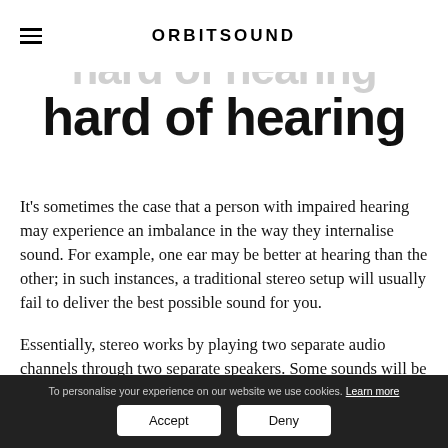ORBITSOUND
hard of hearing
It's sometimes the case that a person with impaired hearing may experience an imbalance in the way they internalise sound. For example, one ear may be better at hearing than the other; in such instances, a traditional stereo setup will usually fail to deliver the best possible sound for you.
Essentially, stereo works by playing two separate audio channels through two separate speakers. Some sounds will be aligned to the left speaker, while others will be aligned to the
To personalise your experience on our website we use cookies. Learn more  Accept  Deny